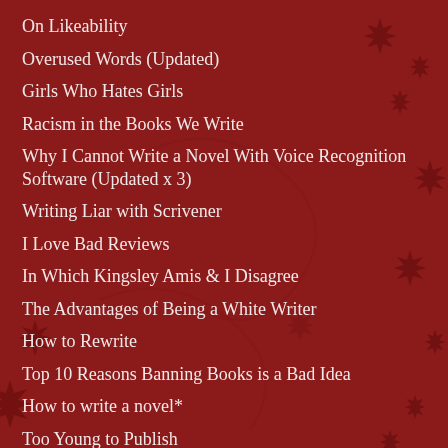On Likeability
Overused Words (Updated)
Girls Who Hates Girls
Racism in the Books We Write
Why I Cannot Write a Novel With Voice Recognition Software (Updated x 3)
Writing Liar with Scrivener
I Love Bad Reviews
In Which Kingsley Amis & I Disagree
The Advantages of Being a White Writer
How to Rewrite
Top 10 Reasons Banning Books is a Bad Idea
How to write a novel*
Too Young to Publish